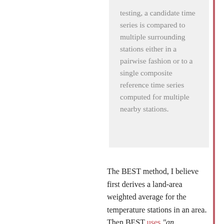testing, a candidate time series is compared to multiple surrounding stations either in a pairwise fashion or to a single composite reference time series computed for multiple nearby stations.
The BEST method, I believe first derives a land-area weighted average for the temperature stations in an area. Then BEST uses "an automated procedure identifies discontinuities in the